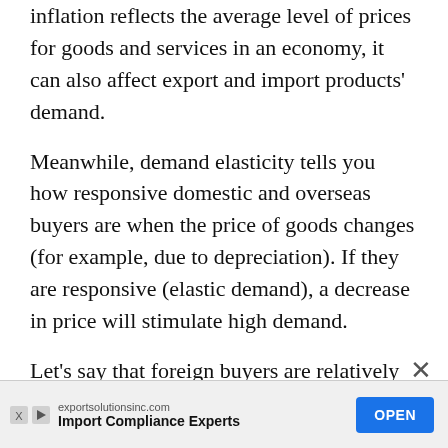inflation reflects the average level of prices for goods and services in an economy, it can also affect export and import products' demand.
Meanwhile, demand elasticity tells you how responsive domestic and overseas buyers are when the price of goods changes (for example, due to depreciation). If they are responsive (elastic demand), a decrease in price will stimulate high demand.
Let's say that foreign buyers are relatively responsive to changes in the prices of domestic goods. Depreciation makes domestic goods cheaper, stimulating them to increase demand
[Figure (other): Advertisement banner for exportsolutionsinc.com showing 'Import Compliance Experts' with an OPEN button]